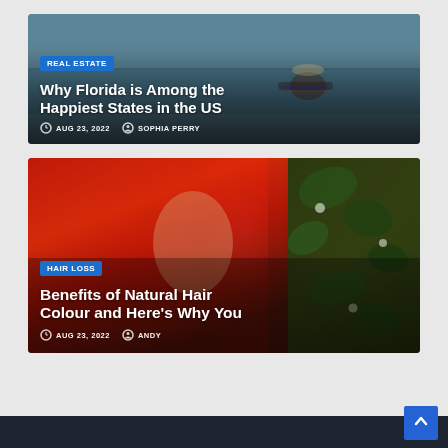[Figure (photo): Article card 1: Beach/vacation scene with person in striped chair, overlaid with REAL ESTATE badge, title and meta]
Why Florida is Among the Happiest States in the US
AUG 23, 2022  SOPHIA PERRY
[Figure (photo): Article card 2: Woman with red hair in front of green foliage, overlaid with HAIR LOSS badge, title and meta]
Benefits of Natural Hair Colour and Here's Why You
AUG 23, 2022  ANDY